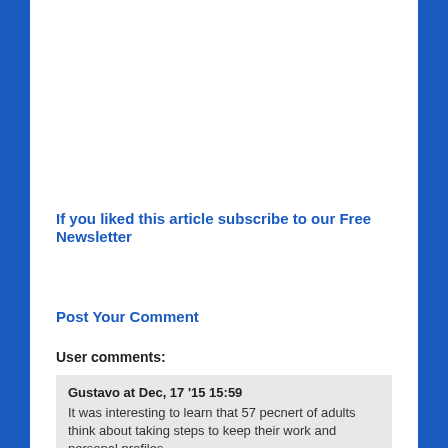If you liked this article subscribe to our Free Newsletter
Post Your Comment
User comments:
Gustavo at Dec, 17 '15 15:59
It was interesting to learn that 57 pecnert of adults think about taking steps to keep their work and personal profiles